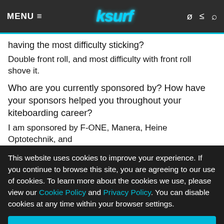MENU ≡  ksurf
having the most difficulty sticking?
Double front roll, and most difficulty with front roll shove it.
Who are you currently sponsored by? How have your sponsors helped you throughout your kiteboarding career?
I am sponsored by F-ONE, Manera, Heine Optotechnik,  and
This website uses cookies to improve your experience. If you continue to browse this site, you are agreeing to our use of cookies. To learn more about the cookies we use, please view our Cookie Policy and Privacy Policy. You can disable cookies at any time within your browser settings.
OK, Close